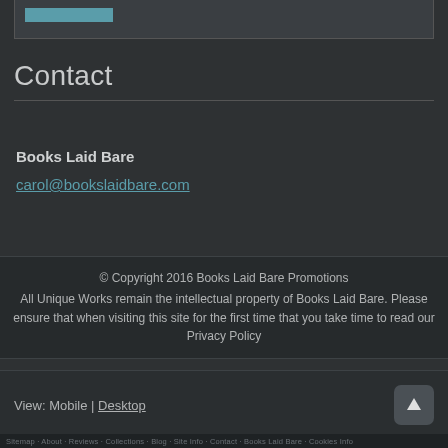[Figure (screenshot): Top portion of a website image/banner, partially visible with a teal/blue accent rectangle]
Contact
Books Laid Bare
carol@bookslaidbare.com
© Copyright 2016 Books Laid Bare Promotions
All Unique Works remain the intellectual property of Books Laid Bare. Please ensure that when visiting this site for the first time that you take time to read our Privacy Policy
View: Mobile | Desktop